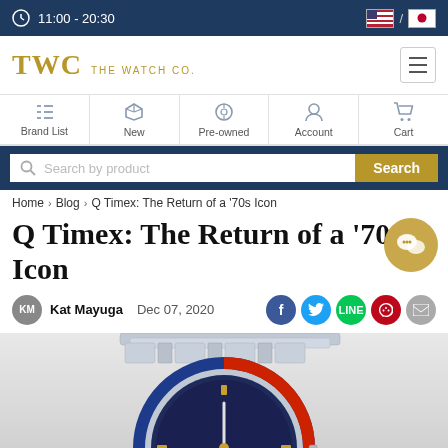11:00 - 20:30
[Figure (logo): TWC The Watch Co. logo with hamburger menu]
Brand List | New | Pre-owned | Account | Cart
Search by product | Search
Home > Blog > Q Timex: The Return of a '70s Icon
Q Timex: The Return of a '70s Icon
Kat Mayuga   Dec 07, 2020
[Figure (photo): Q Timex watch with blue dial, stainless steel bracelet, red and blue bezel, partially shown from above]